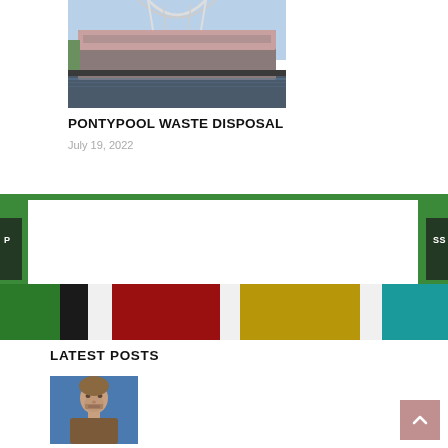[Figure (photo): Stadium building with arch structure and water reflection, daytime photo]
PONTYPOOL WASTE DISPOSAL
July 19, 2022
[Figure (photo): Colorful recycling bins strip - green, black, white, red, white, yellow, white, teal bins]
LATEST POSTS
[Figure (photo): Portrait of a young man with stubble, blue background]